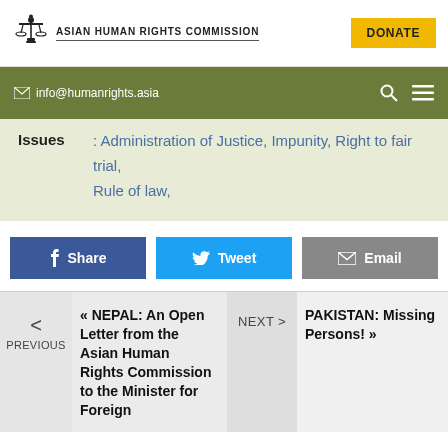[Figure (logo): Asian Human Rights Commission logo with scales of justice icon]
Asian Human Rights Commission
info@humanrights.asia
Issues : Administration of Justice, Impunity, Right to fair trial, Rule of law,
Share  Tweet  Email
« NEPAL: An Open Letter from the Asian Human Rights Commission to the Minister for Foreign
NEXT > PAKISTAN: Missing Persons! »